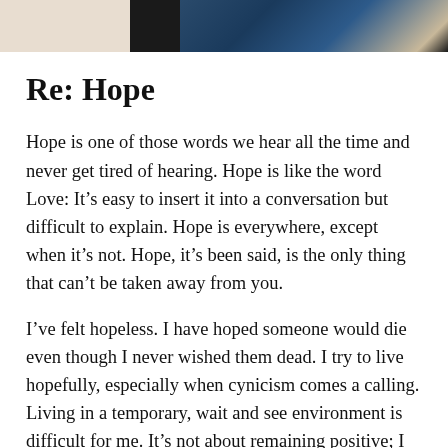[Figure (photo): Header image with a beige/cream section on the left, a dark/black block in the center, and a dark blue abstract painted texture on the right]
Re: Hope
Hope is one of those words we hear all the time and never get tired of hearing. Hope is like the word Love: It's easy to insert it into a conversation but difficult to explain. Hope is everywhere, except when it's not. Hope, it's been said, is the only thing that can't be taken away from you.
I've felt hopeless. I have hoped someone would die even though I never wished them dead. I try to live hopefully, especially when cynicism comes a calling. Living in a temporary, wait and see environment is difficult for me. It's not about remaining positive; I can do sunshine and lollipops. Currently, Hope has become the catchword of my days. It is something I